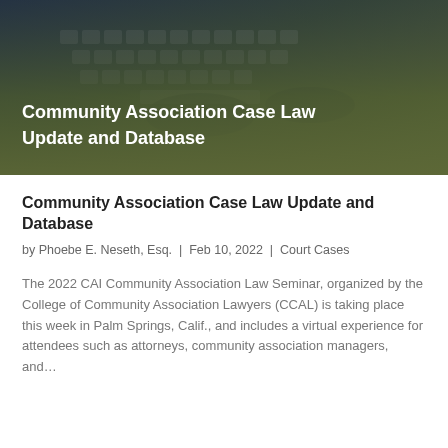[Figure (photo): Hero image showing hands typing on a laptop keyboard with dark teal/olive overlay and white bold title text 'Community Association Case Law Update and Database']
Community Association Case Law Update and Database
by Phoebe E. Neseth, Esq. | Feb 10, 2022 | Court Cases
The 2022 CAI Community Association Law Seminar, organized by the College of Community Association Lawyers (CCAL) is taking place this week in Palm Springs, Calif., and includes a virtual experience for attendees such as attorneys, community association managers, and...